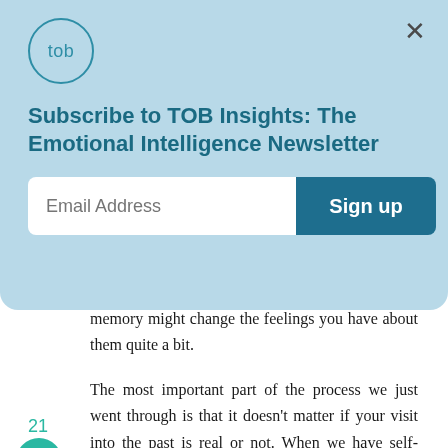[Figure (logo): TOB logo in a circle outline]
Subscribe to TOB Insights: The Emotional Intelligence Newsletter
Email Address
Sign up
memory might change the feelings you have about them quite a bit.
The most important part of the process we just went through is that it doesn't matter if your visit into the past is real or not. When we have self-worth issues, we are dealing with memories of how we were treated and what was said to us. That means we are living today through our memories of yesterday. And if by simply turning